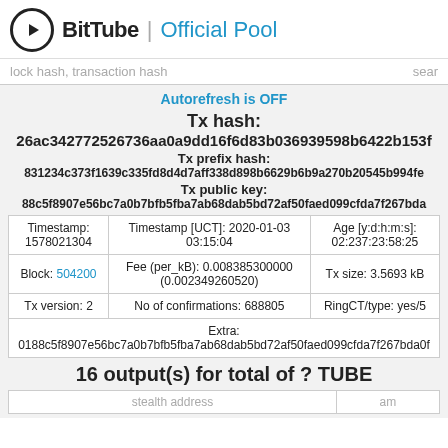BitTube | Official Pool
lock hash, transaction hash    sear
Autorefresh is OFF
Tx hash:
26ac342772526736aa0a9dd16f6d83b036939598b6422b153f
Tx prefix hash:
831234c373f1639c335fd8d4d7aff338d898b6629b6b9a270b20545b994fe
Tx public key:
88c5f8907e56bc7a0b7bfb5fba7ab68dab5bd72af50faed099cfda7f267bda
| Timestamp | Timestamp [UCT] | Age [y:d:h:m:s] |
| --- | --- | --- |
| Timestamp:
1578021304 | Timestamp [UCT]: 2020-01-03
03:15:04 | Age [y:d:h:m:s]:
02:237:23:58:25 |
| Block: 504200 | Fee (per_kB): 0.008385300000
(0.002349260520) | Tx size: 3.5693 kB |
| Tx version: 2 | No of confirmations: 688805 | RingCT/type: yes/5 |
| Extra:
0188c5f8907e56bc7a0b7bfb5fba7ab68dab5bd72af50faed099cfda7f267bda0f |  |  |
16 output(s) for total of ? TUBE
| stealth address | am |
| --- | --- |